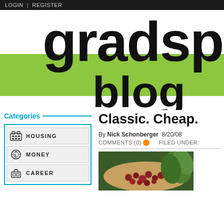LOGIN | REGISTER
gradspot blog
Categories
HOUSING
MONEY
CAREER
Classic. Cheap.
By Nick Schonberger  8/20/08
COMMENTS (0)  FILED UNDER:
[Figure (photo): Bowl of red beans/kidney beans with green vegetables]